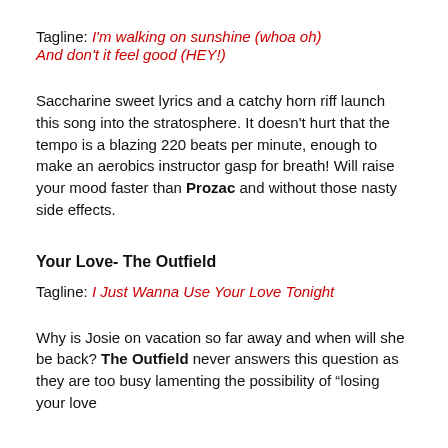Tagline: I'm walking on sunshine (whoa oh) And don't it feel good (HEY!)
Saccharine sweet lyrics and a catchy horn riff launch this song into the stratosphere. It doesn't hurt that the tempo is a blazing 220 beats per minute, enough to make an aerobics instructor gasp for breath! Will raise your mood faster than Prozac and without those nasty side effects.
Your Love- The Outfield
Tagline: I Just Wanna Use Your Love Tonight
Why is Josie on vacation so far away and when will she be back? The Outfield never answers this question as they are too busy lamenting the possibility of "losing your love